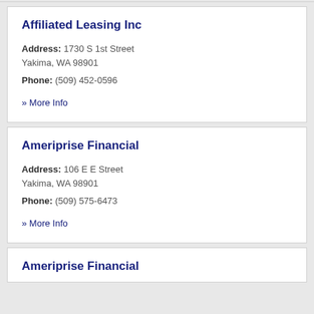Affiliated Leasing Inc
Address: 1730 S 1st Street Yakima, WA 98901 Phone: (509) 452-0596
» More Info
Ameriprise Financial
Address: 106 E E Street Yakima, WA 98901 Phone: (509) 575-6473
» More Info
Ameriprise Financial